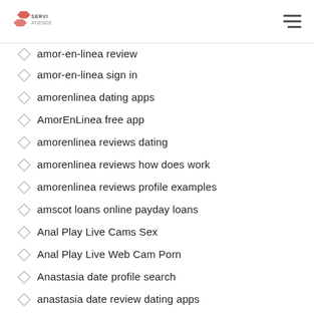ServiAtiende logo and hamburger menu
amor-en-linea review
amor-en-linea sign in
amorenlinea dating apps
AmorEnLinea free app
amorenlinea reviews dating
amorenlinea reviews how does work
amorenlinea reviews profile examples
amscot loans online payday loans
Anal Play Live Cams Sex
Anal Play Live Web Cam Porn
Anastasia date profile search
anastasia date review dating apps
anastasia date review promo code
anastasia date review review
Anastasia date support
AnastasiaDate abmelden
anastasiadate login